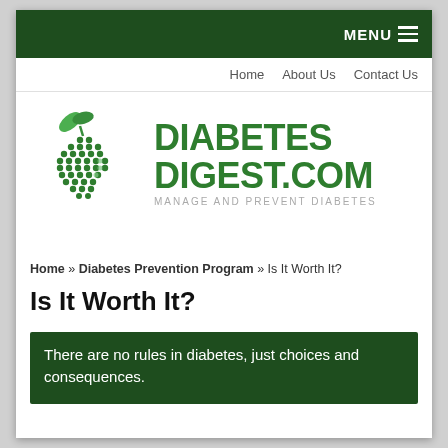MENU
Home   About Us   Contact Us
[Figure (logo): DiabetesDigest.com logo — green dotted apple shape with leaf on left, bold green text DIABETES DIGEST.COM and subtitle MANAGE AND PREVENT DIABETES]
Home » Diabetes Prevention Program » Is It Worth It?
Is It Worth It?
There are no rules in diabetes, just choices and consequences.